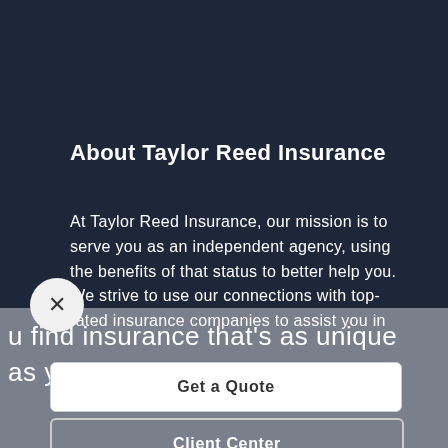About Taylor Reed Insurance
At Taylor Reed Insurance, our mission is to serve you as an independent agency, using the benefits of that status to better help you. We strive to use our connections with top-rated insurance companies to assist you in
u find insurance that's as unique as you are.  H
Get a Quote
Client Center